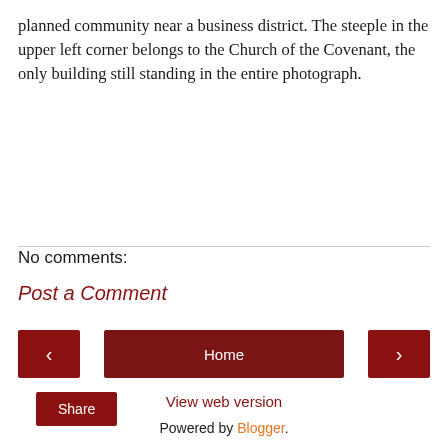planned community near a business district. The steeple in the upper left corner belongs to the Church of the Covenant, the only building still standing in the entire photograph.
Share
No comments:
Post a Comment
‹
Home
›
View web version
Powered by Blogger.